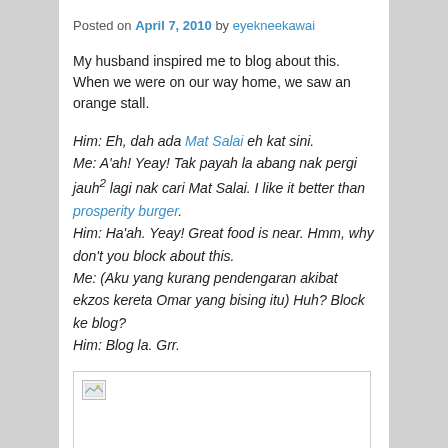Posted on April 7, 2010 by eyekneekawai
My husband inspired me to blog about this. When we were on our way home, we saw an orange stall.
Him: Eh, dah ada Mat Salai eh kat sini.
Me: A'ah! Yeay! Tak payah la abang nak pergi jauh² lagi nak cari Mat Salai. I like it better than prosperity burger.
Him: Ha'ah. Yeay! Great food is near. Hmm, why don't you block about this.
Me: (Aku yang kurang pendengaran akibat ekzos kereta Omar yang bising itu) Huh? Block ke blog?
Him: Blog la. Grr.
[Figure (photo): A photo with a broken/placeholder image icon visible in the top-left corner of a bordered box.]